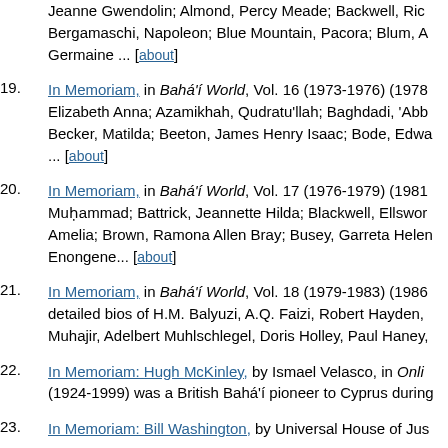Jeanne Gwendolin; Almond, Percy Meade; Backwell, Ric Bergamaschi, Napoleon; Blue Mountain, Pacora; Blum, A Germaine ... [about]
19. In Memoriam, in Bahá'í World, Vol. 16 (1973-1976) (1978 Elizabeth Anna; Azamikhah, Qudratu'llah; Baghdadi, 'Abb Becker, Matilda; Beeton, James Henry Isaac; Bode, Edwa ... [about]
20. In Memoriam, in Bahá'í World, Vol. 17 (1976-1979) (1981 Muḥammad; Battrick, Jeannette Hilda; Blackwell, Ellswor Amelia; Brown, Ramona Allen Bray; Busey, Garreta Helen Enongene... [about]
21. In Memoriam, in Bahá'í World, Vol. 18 (1979-1983) (1986 detailed bios of H.M. Balyuzi, A.Q. Faizi, Robert Hayden, Muhajir, Adelbert Muhlschlegel, Doris Holley, Paul Haney,
22. In Memoriam: Hugh McKinley, by Ismael Velasco, in Onli (1924-1999) was a British Bahá'í pioneer to Cyprus during
23. In Memoriam: Bill Washington, by Universal House of Jus